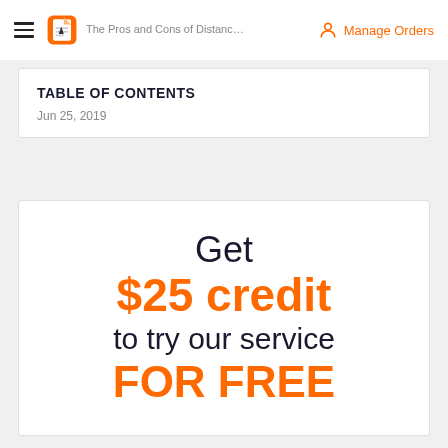The Pros and Cons of Distance Learning — Manage Orders
TABLE OF CONTENTS
Jun 25, 2019
Get $25 credit to try our service FOR FREE